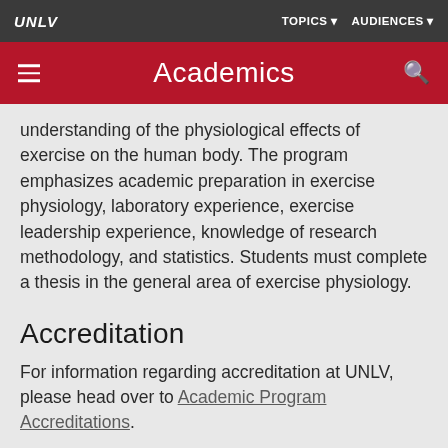UNLV    TOPICS    AUDIENCES
Academics
designed to provide students with an understanding of the physiological effects of exercise on the human body. The program emphasizes academic preparation in exercise physiology, laboratory experience, exercise leadership experience, knowledge of research methodology, and statistics. Students must complete a thesis in the general area of exercise physiology.
Accreditation
For information regarding accreditation at UNLV, please head over to Academic Program Accreditations.